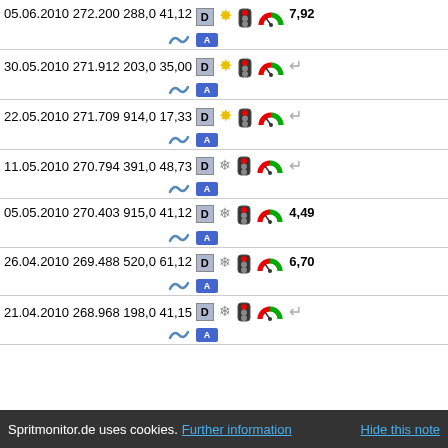| Date | Odometer | Distance | L/100km | Icons | Value |
| --- | --- | --- | --- | --- | --- |
| 05.06.2010 | 272.200 | 288,0 | 41,12 | [D][sun][tl][gauge][snake][highway] | 7,92 |
| 30.05.2010 | 271.912 | 203,0 | 35,00 | [D][sun][tl][gauge][snake][highway] |  |
| 22.05.2010 | 271.709 | 914,0 | 17,33 | [D][sun][tl][gauge][snake][highway] |  |
| 11.05.2010 | 270.794 | 391,0 | 48,73 | [D][snow][tl][gauge][snake][highway] |  |
| 05.05.2010 | 270.403 | 915,0 | 41,12 | [D][snow][tl][gauge][snake][highway] | 4,49 |
| 26.04.2010 | 269.488 | 520,0 | 61,12 | [D][snow][tl][gauge][snake][highway] | 6,70 |
| 21.04.2010 | 268.968 | 198,0 | 41,15 | [D][snow][tl][gauge][snake][highway] |  |
Spritmonitor.de uses cookies. Further information   Hide this note